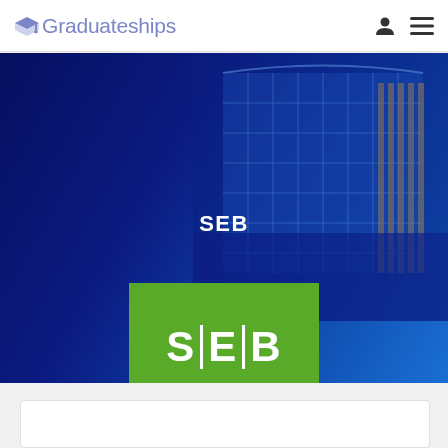Graduateships
[Figure (screenshot): Hero banner with SEB branding. Dark blue gradient background with a glass building photograph on the right. 'SEB' text label in white in the center. Green SEB logo box with S|E|B text overlapping the bottom of the hero section.]
[Figure (logo): SEB green logo with S|E|B text in white on green background]